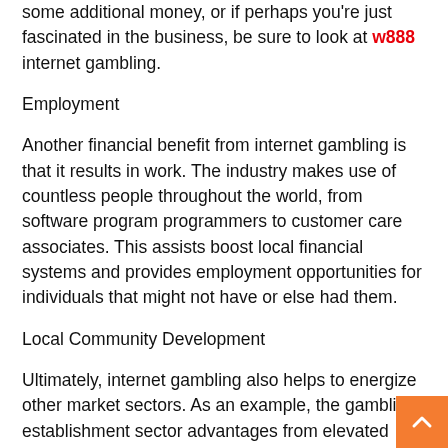some additional money, or if perhaps you're just fascinated in the business, be sure to look at w888 internet gambling.
Employment
Another financial benefit from internet gambling is that it results in work. The industry makes use of countless people throughout the world, from software program programmers to customer care associates. This assists boost local financial systems and provides employment opportunities for individuals that might not have or else had them.
Local Community Development
Ultimately, internet gambling also helps to energize other market sectors. As an example, the gambling establishment sector advantages from elevated visitors because of players browsing online